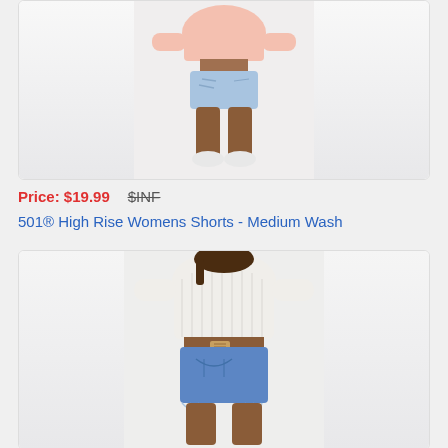[Figure (photo): Product photo of 501 High Rise Womens Shorts - Medium Wash, front view on model with pink sweater, light blue distressed denim shorts]
Price: $19.99   $INF
501® High Rise Womens Shorts - Medium Wash
[Figure (photo): Product photo of denim shorts, back view on model wearing white knit sweater, medium blue wash Levi's shorts]